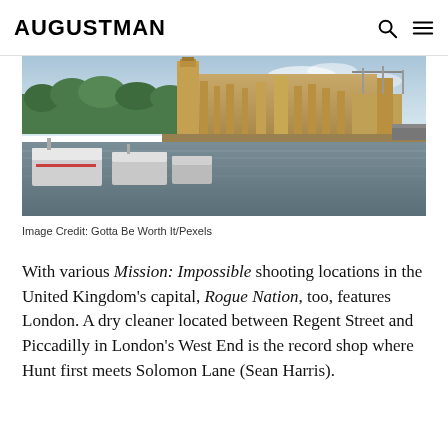AUGUSTMAN
[Figure (photo): Aerial/riverside view of the Houses of Parliament and Big Ben along the River Thames in London, with tourist boats moored in the foreground and city skyline in the background under a partly cloudy sky.]
Image Credit: Gotta Be Worth It/Pexels
With various Mission: Impossible shooting locations in the United Kingdom's capital, Rogue Nation, too, features London. A dry cleaner located between Regent Street and Piccadilly in London's West End is the record shop where Hunt first meets Solomon Lane (Sean Harris).